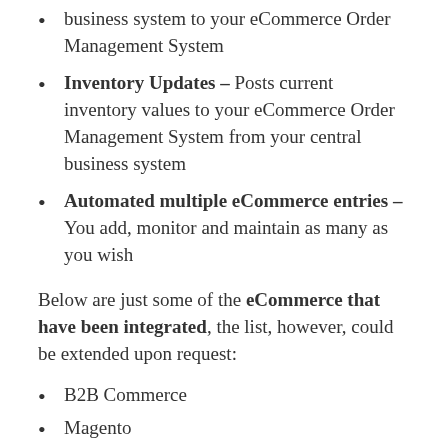business system to your eCommerce Order Management System
Inventory Updates – Posts current inventory values to your eCommerce Order Management System from your central business system
Automated multiple eCommerce entries – You add, monitor and maintain as many as you wish
Below are just some of the eCommerce that have been integrated, the list, however, could be extended upon request:
B2B Commerce
Magento
Nexternal